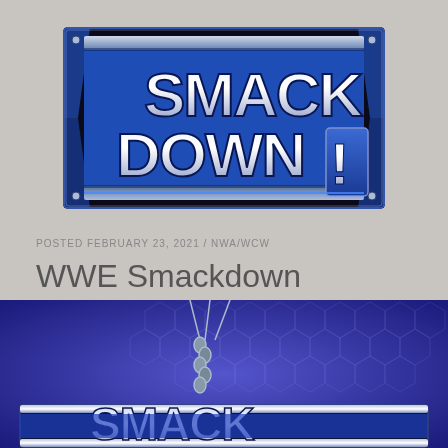[Figure (logo): WWE SmackDown! logo — stylized blue and silver metallic text on a dark blue rectangular background with chrome and neon effects]
POSTED FEBRUARY 23, 2021 / NWA/WCW
WWE Smackdown 7/18/2002
[Figure (photo): WWE SmackDown! arena promotional photo showing the SmackDown logo against a blue hexagonal grid background with chains/lighting rig elements]